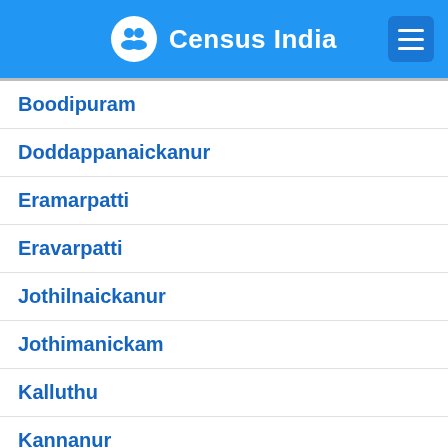Census India
Boodipuram
Doddappanaickanur
Eramarpatti
Eravarpatti
Jothilnaickanur
Jothimanickam
Kalluthu
Kannanur
Karumathur
Kattakaruppanpatti
Keeripatti